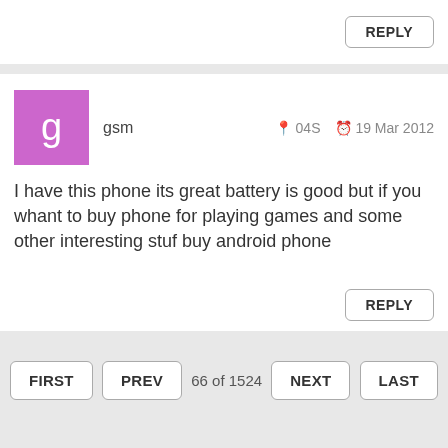REPLY
gsm  04S  19 Mar 2012
I have this phone its great battery is good but if you whant to buy phone for playing games and some other interesting stuf buy android phone
REPLY
FIRST  PREV  66 of 1524  NEXT  LAST